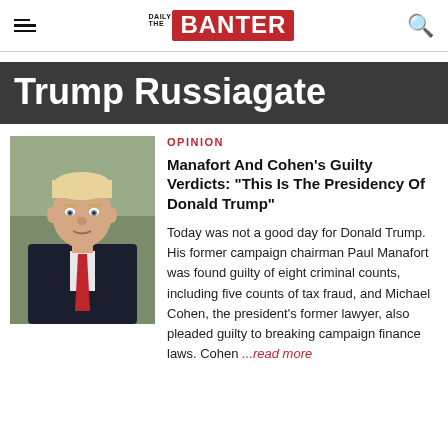Daily Banter
Trump Russiagate
[Figure (photo): Portrait photo of Donald Trump in a dark suit with a red tie, outdoors]
OPINION
Manafort And Cohen's Guilty Verdicts: "This Is The Presidency Of Donald Trump"
Today was not a good day for Donald Trump. His former campaign chairman Paul Manafort was found guilty of eight criminal counts, including five counts of tax fraud, and Michael Cohen, the president's former lawyer, also pleaded guilty to breaking campaign finance laws. Cohen ...read more